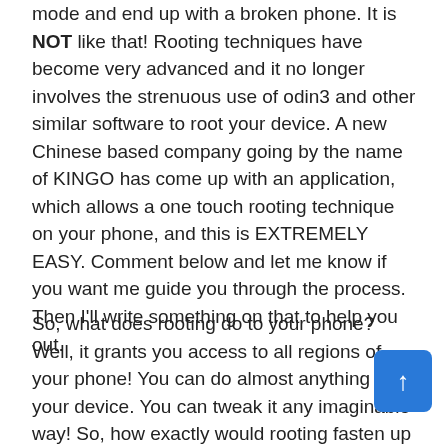mode and end up with a broken phone. It is NOT like that! Rooting techniques have become very advanced and it no longer involves the strenuous use of odin3 and other similar software to root your device. A new Chinese based company going by the name of KINGO has come up with an application, which allows a one touch rooting technique on your phone, and this is EXTREMELY EASY. Comment below and let me know if you want me guide you through the process. Then I'll write something on that to help you out.
So, what does rooting do to your phone? Well, it grants you access to all regions of your phone! You can do almost anything to your device. You can tweak it any imaginable way! So, how exactly would rooting fasten up your phone? Well, you could remove bloatwares from your phone that come built in on your android device. M...